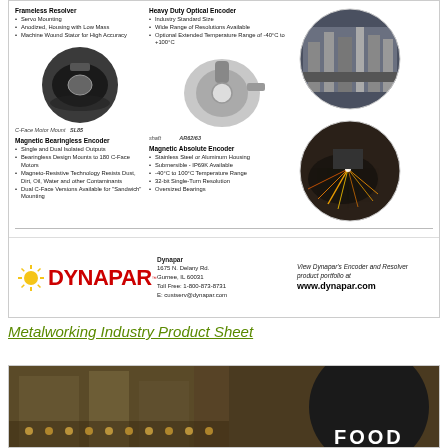Frameless Resolver
Servo Mounting
Anodized, Housing with Low Mass
Machine Wound Stator for High Accuracy
Heavy Duty Optical Encoder
Industry Standard Size
Wide Range of Resolutions Available
Optional Extended Temperature Range of -40°C to +100°C
[Figure (photo): Industrial metalworking machinery, circular photo]
[Figure (photo): Laser cutting sparks, circular photo]
[Figure (photo): C-Face Motor Mount SL85 resolver product image]
C-Face Motor Mount  SL85
[Figure (photo): AR62/63 magnetic absolute encoder product image]
shaft  AR62/63
Magnetic Bearingless Encoder
Single and Dual Isolated Outputs
Bearingless Design Mounts to 180 C-Face Motors
Magneto-Resistive Technology Resists Dust, Dirt, Oil, Water and other Contaminants
Dual C-Face Versions Available for "Sandwich" Mounting
Magnetic Absolute Encoder
Stainless Steel or Aluminum Housing
Submersible - IP69K Available
-40°C to 100°C Temperature Range
32-bit Single-Turn Resolution
Oversized Bearings
[Figure (logo): Dynapar logo with sun icon and red DYNAPAR text]
Dynapar
1675 N. Delany Rd.
Gurnee, IL 60031
Toll Free: 1-800-873-8731
E: custserv@dynapar.com
View Dynapar's Encoder and Resolver product portfolio at
www.dynapar.com
Metalworking Industry Product Sheet
[Figure (photo): Partial bottom advertisement showing food industry machinery with FOOD text overlay]